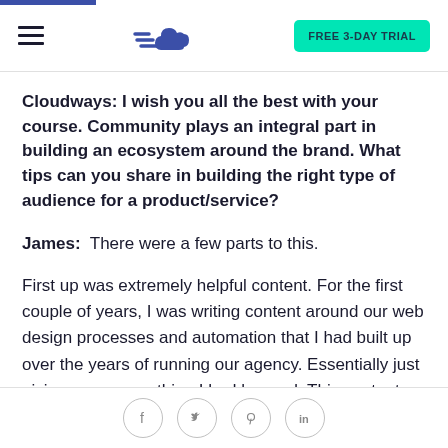Cloudways navigation bar with hamburger menu, cloud logo, and FREE 3-DAY TRIAL button
Cloudways: I wish you all the best with your course. Community plays an integral part in building an ecosystem around the brand. What tips can you share in building the right type of audience for a product/service?
James: There were a few parts to this.
First up was extremely helpful content. For the first couple of years, I was writing content around our web design processes and automation that I had built up over the years of running our agency. Essentially just giving away everything I had learned. This content was easily shareable into other
Social share icons: Facebook, Twitter, Pinterest, LinkedIn